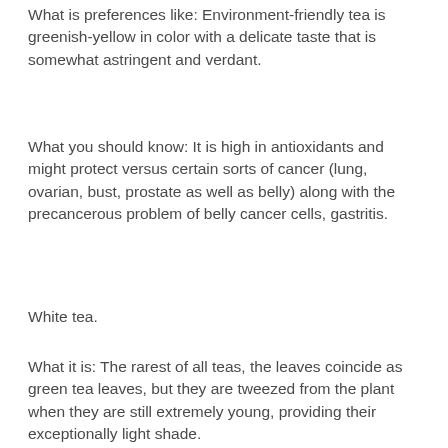What is preferences like: Environment-friendly tea is greenish-yellow in color with a delicate taste that is somewhat astringent and verdant.
What you should know: It is high in antioxidants and might protect versus certain sorts of cancer (lung, ovarian, bust, prostate as well as belly) along with the precancerous problem of belly cancer cells, gastritis.
White tea.
What it is: The rarest of all teas, the leaves coincide as green tea leaves, but they are tweezed from the plant when they are still extremely young, providing their exceptionally light shade.
Where it grows: a Fujian district on China's eastern coastline.
What is preferences like: As one would certainly expect, the tea is nearly anemic as well as is delicate in flavor with a slighty pleasant as well as nutty quality.